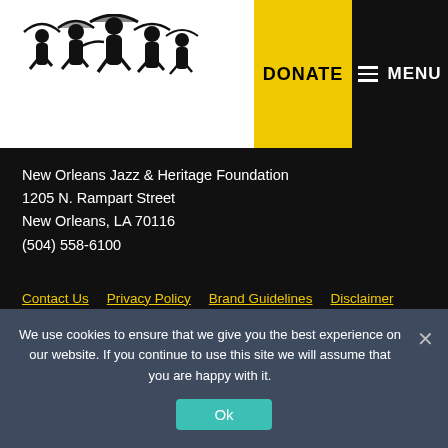[Figure (logo): New Orleans Jazz & Heritage Foundation logo silhouette of jazz musicians dancing with umbrellas]
DONATE   ≡ MENU
New Orleans Jazz & Heritage Foundation
1205 N. Rampart Street
New Orleans, LA 70116
(504) 558-6100
Contact Us
Privacy Policy
Brand Guidelines
Disclaimer
Sitemap
All contents © 2009–2022 by The New Orleans Jazz & Heritage Festival and Foundation, Inc. All Rights Reserved. Site handcrafted with love by Deep Fried.
We use cookies to ensure that we give you the best experience on our website. If you continue to use this site we will assume that you are happy with it.